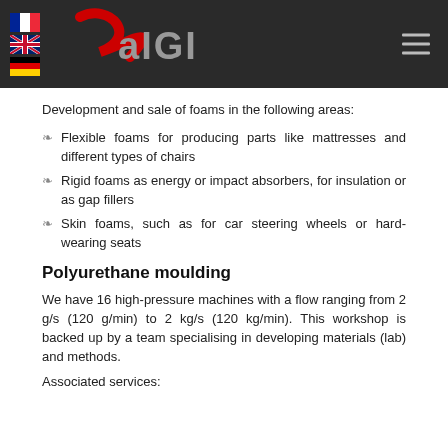Raigi — navigation header with language flags (France, UK, Germany) and logo
Development and sale of foams in the following areas:
Flexible foams for producing parts like mattresses and different types of chairs
Rigid foams as energy or impact absorbers, for insulation or as gap fillers
Skin foams, such as for car steering wheels or hard-wearing seats
Polyurethane moulding
We have 16 high-pressure machines with a flow ranging from 2 g/s (120 g/min) to 2 kg/s (120 kg/min). This workshop is backed up by a team specialising in developing materials (lab) and methods.
Associated services: